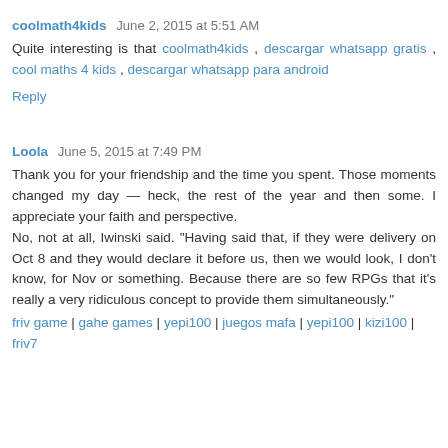coolmath4kids  June 2, 2015 at 5:51 AM
Quite interesting is that coolmath4kids , descargar whatsapp gratis , cool maths 4 kids , descargar whatsapp para android
Reply
Loola  June 5, 2015 at 7:49 PM
Thank you for your friendship and the time you spent. Those moments changed my day — heck, the rest of the year and then some. I appreciate your faith and perspective.
No, not at all, Iwinski said. "Having said that, if they were delivery on Oct 8 and they would declare it before us, then we would look, I don't know, for Nov or something. Because there are so few RPGs that it's really a very ridiculous concept to provide them simultaneously."
friv game | gahe games | yepi100 | juegos mafa | yepi100 | kizi100 | friv7